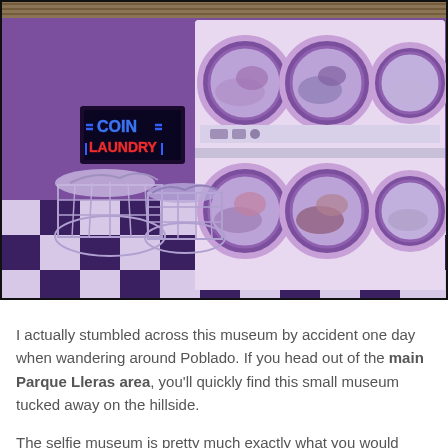[Figure (photo): Interior of a coin laundry / selfie museum room. Purple walls, purple and white checkered floor, six washing machine porthole windows arranged in two rows of three on a white panel unit. A neon sign reading COIN LAUNDRY hangs on the left wall. Wire laundry baskets with clothes sit on the floor in front of the machines.]
I actually stumbled across this museum by accident one day when wandering around Poblado. If you head out of the main Parque Lleras area, you'll quickly find this small museum tucked away on the hillside.
The selfie museum is pretty much exactly what you would expect it to be.